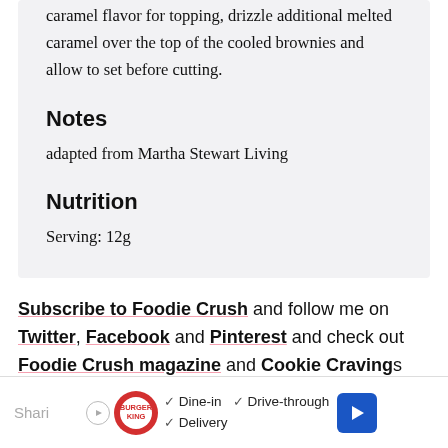caramel flavor for topping, drizzle additional melted caramel over the top of the cooled brownies and allow to set before cutting.
Notes
adapted from Martha Stewart Living
Nutrition
Serving: 12g
Subscribe to Foodie Crush and follow me on Twitter, Facebook and Pinterest and check out Foodie Crush magazine and Cookie Cravings
[Figure (other): Burger King advertisement banner with logo, Dine-in, Drive-through, Delivery options, and navigation arrow icon]